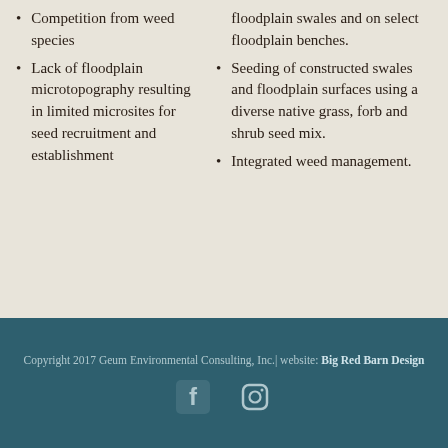Competition from weed species
Lack of floodplain microtopography resulting in limited microsites for seed recruitment and establishment
floodplain swales and on select floodplain benches.
Seeding of constructed swales and floodplain surfaces using a diverse native grass, forb and shrub seed mix.
Integrated weed management.
Copyright 2017 Geum Environmental Consulting, Inc.| website: Big Red Barn Design